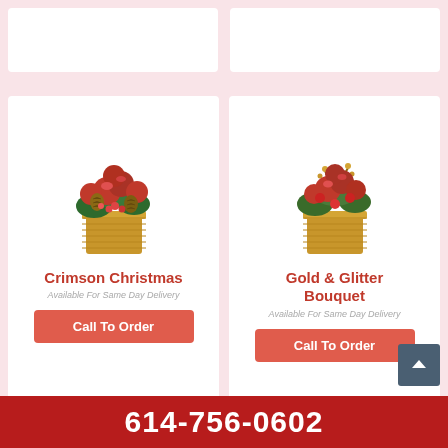[Figure (photo): Partial white product card (top, left) — floral product thumbnail cropped]
[Figure (photo): Partial white product card (top, right) — floral product thumbnail cropped]
[Figure (photo): Crimson Christmas flower arrangement in gold vase with red roses, pinecones, and berries]
Crimson Christmas
Available For Same Day Delivery
Call To Order
[Figure (photo): Gold & Glitter Bouquet flower arrangement in gold vase with red roses and greenery]
Gold & Glitter Bouquet
Available For Same Day Delivery
Call To Order
614-756-0602